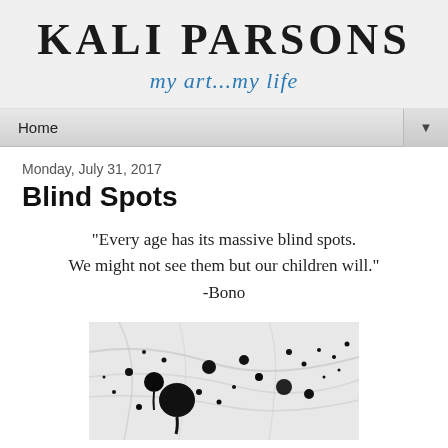KALI PARSONS
my art...my life
Home
Monday, July 31, 2017
Blind Spots
"Every age has its massive blind spots. We might not see them but our children will." -Bono
[Figure (photo): Black and white abstract artwork with dark ink blots and spots scattered across a light textured background, partially visible.]